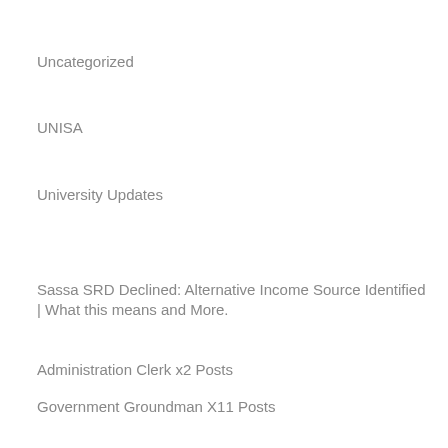Uncategorized
UNISA
University Updates
Sassa SRD Declined: Alternative Income Source Identified | What this means and More.
Administration Clerk x2 Posts
Government Groundman X11 Posts
Cleaner X11 Posts
Intern: Registered Counsellor X7 Posts